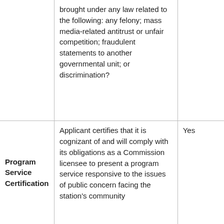|  | brought under any law related to the following: any felony; mass media-related antitrust or unfair competition; fraudulent statements to another governmental unit; or discrimination? |  |
| Program Service Certification | Applicant certifies that it is cognizant of and will comply with its obligations as a Commission licensee to present a program service responsive to the issues of public concern facing the station's community | Yes |